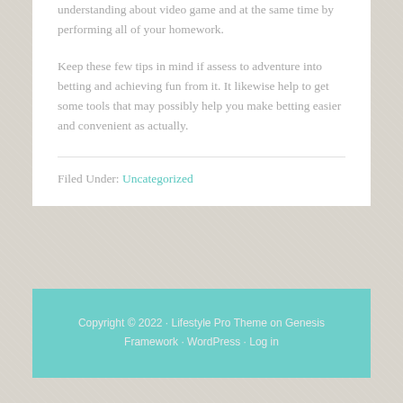understanding about video game and at the same time by performing all of your homework.
Keep these few tips in mind if assess to adventure into betting and achieving fun from it. It likewise help to get some tools that may possibly help you make betting easier and convenient as actually.
Filed Under: Uncategorized
Copyright © 2022 · Lifestyle Pro Theme on Genesis Framework · WordPress · Log in